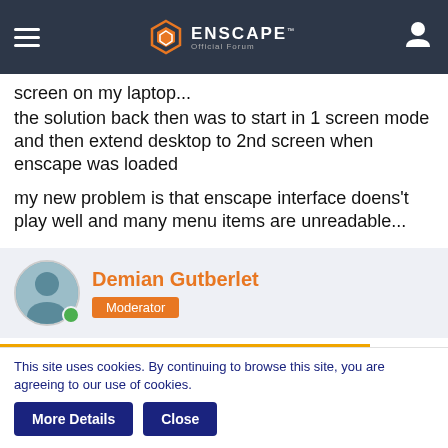Enscape Official Forum
screen on my laptop...
the solution back then was to start in 1 screen mode and then extend desktop to 2nd screen when enscape was loaded
my new problem is that enscape interface doens't play well and many menu items are unreadable...
Demian Gutberlet
Moderator
[Figure (infographic): Cookie consent orange banner: By using our website you accept that we use cookies to track usage and improve the relevancy of ads and may...]
This site uses cookies. By continuing to browse this site, you are agreeing to our use of cookies.
More Details   Close